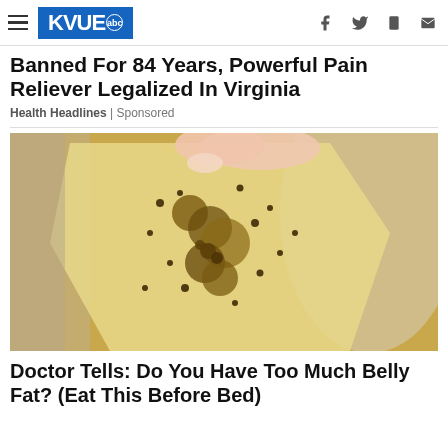KVUE abc
Banned For 84 Years, Powerful Pain Reliever Legalized In Virginia
Health Headlines | Sponsored
[Figure (photo): Close-up photo of a hand holding a translucent yellowish substance covered with golden-brown granules or spices, placed over a bowl with similar contents]
Doctor Tells: Do You Have Too Much Belly Fat? (Eat This Before Bed)